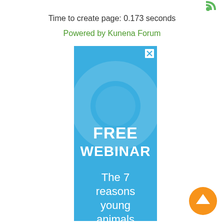Time to create page: 0.173 seconds
Powered by Kunena Forum
[Figure (other): Advertisement banner with blue background showing 'FREE WEBINAR' in large white bold text and 'The 7 reasons young animals' in white italic text, with a close (X) button in top right corner. Background has faint circular watermark design.]
[Figure (other): Orange circular button with white upward arrow (back to top button) in bottom right area.]
[Figure (other): Green RSS feed icon in top right corner.]